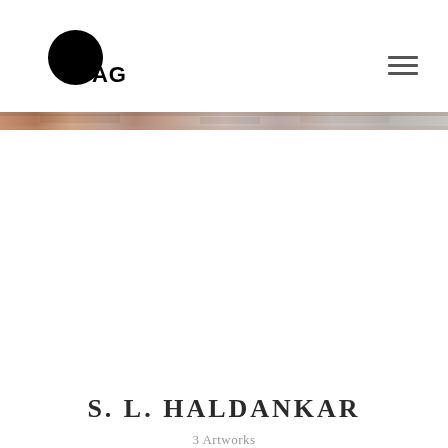DAG
[Figure (illustration): Horizontal banner strip showing a textured painting detail with warm earthy tones — browns, pinks, and greys — spanning the full width of the page]
S. L. HALDANKAR
3 Artworks